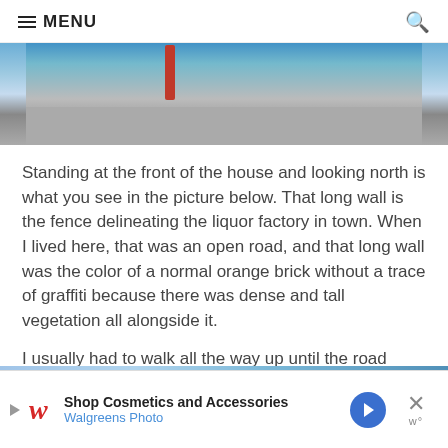≡ MENU
[Figure (photo): Street-level photo showing a road with a long wall (fence of a liquor factory), blue structure and an orange/red pole visible, road surface in foreground.]
Standing at the front of the house and looking north is what you see in the picture below. That long wall is the fence delineating the liquor factory in town. When I lived here, that was an open road, and that long wall was the color of a normal orange brick without a trace of graffiti because there was dense and tall vegetation all alongside it.
I usually had to walk all the way up until the road ends on a hill. Then, continue for about a mile and a half to get to my high school.
[Figure (photo): Partial view of another street photo at the bottom of the page, with blue sky and road visible.]
[Figure (other): Walgreens Photo advertisement banner: 'Shop Cosmetics and Accessories / Walgreens Photo' with logo, blue arrow button, and close (X) button.]